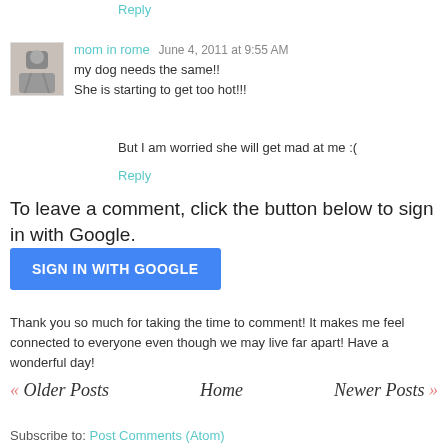Reply
mom in rome   June 4, 2011 at 9:55 AM
my dog needs the same!!
She is starting to get too hot!!!

But I am worried she will get mad at me :(

Reply
To leave a comment, click the button below to sign in with Google.
[Figure (other): SIGN IN WITH GOOGLE button (blue rectangle with white text)]
Thank you so much for taking the time to comment! It makes me feel connected to everyone even though we may live far apart! Have a wonderful day!
<< Older Posts   Home   Newer Posts >>
Subscribe to: Post Comments (Atom)